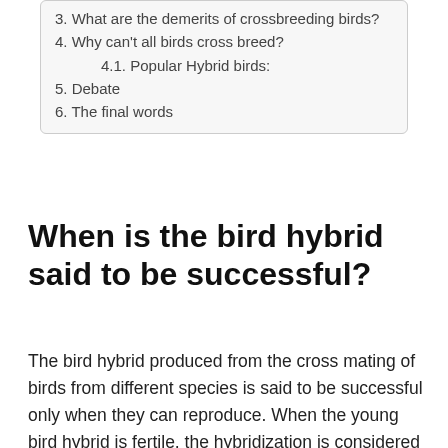3. What are the demerits of crossbreeding birds?
4. Why can't all birds cross breed?
4.1. Popular Hybrid birds:
5. Debate
6. The final words
When is the bird hybrid said to be successful?
The bird hybrid produced from the cross mating of birds from different species is said to be successful only when they can reproduce. When the young bird hybrid is fertile, the hybridization is considered